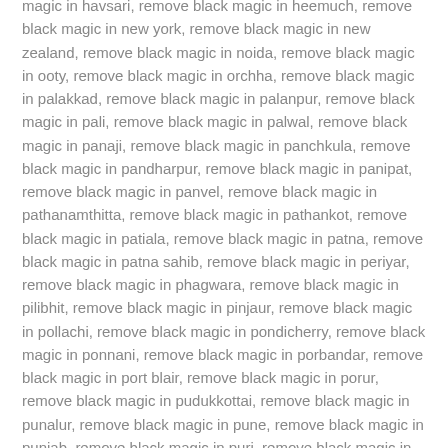magic in havsari, remove black magic in heemuch, remove black magic in new york, remove black magic in new zealand, remove black magic in noida, remove black magic in ooty, remove black magic in orchha, remove black magic in palakkad, remove black magic in palanpur, remove black magic in pali, remove black magic in palwal, remove black magic in panaji, remove black magic in panchkula, remove black magic in pandharpur, remove black magic in panipat, remove black magic in panvel, remove black magic in pathanamthitta, remove black magic in pathankot, remove black magic in patiala, remove black magic in patna, remove black magic in patna sahib, remove black magic in periyar, remove black magic in phagwara, remove black magic in pilibhit, remove black magic in pinjaur, remove black magic in pollachi, remove black magic in pondicherry, remove black magic in ponnani, remove black magic in porbandar, remove black magic in port blair, remove black magic in porur, remove black magic in pudukkottai, remove black magic in punalur, remove black magic in pune, remove black magic in punjab, remove black magic in puri, remove black magic in